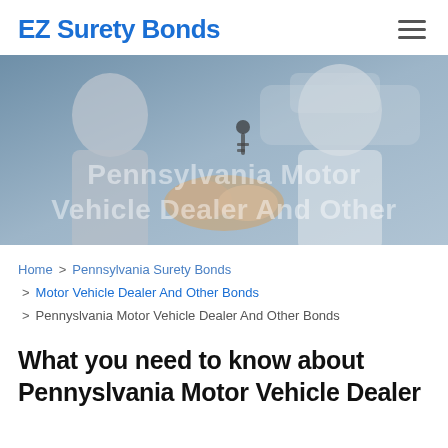EZ Surety Bonds
[Figure (photo): Two people shaking hands in a car dealership setting, one handing car keys to the other. Watermark text: Pennsylvania Motor Vehicle Dealer And Other]
Home > Pennsylvania Surety Bonds > Motor Vehicle Dealer And Other Bonds > Pennyslvania Motor Vehicle Dealer And Other Bonds
What you need to know about Pennyslvania Motor Vehicle Dealer